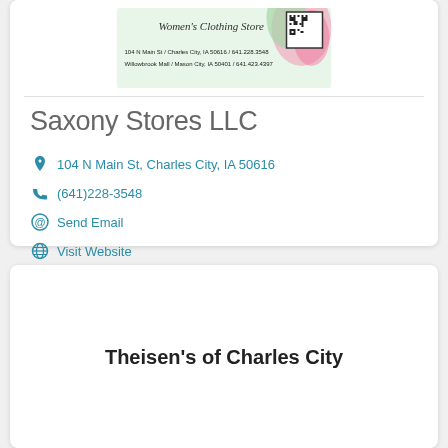[Figure (photo): Store banner image for a women's clothing store with QR code, showing addresses: 104 N Main St / Charles City, IA 50616 / 641.228.3548 and Willowbrook Mall / Mason City, IA 50401 / 641.423.4397]
Saxony Stores LLC
104 N Main St, Charles City, IA 50616
(641)228-3548
Send Email
Visit Website
Theisen's of Charles City